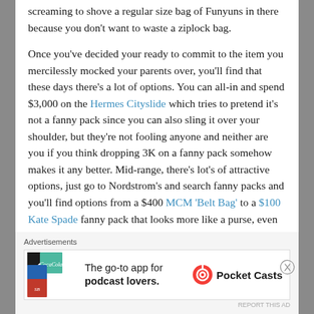screaming to shove a regular size bag of Funyuns in there because you don't want to waste a ziplock bag.
Once you've decided your ready to commit to the item you mercilessly mocked your parents over, you'll find that these days there's a lot of options. You can all-in and spend $3,000 on the Hermes Cityslide which tries to pretend it's not a fanny pack since you can also sling it over your shoulder, but they're not fooling anyone and neither are you if you think dropping 3K on a fanny pack somehow makes it any better. Mid-range, there's lot's of attractive options, just go to Nordstrom's and search fanny packs and you'll find options from a $400 MCM 'Belt Bag' to a $100 Kate Spade fanny pack that looks more like a purse, even the obnoxiously omnipresent yoga brand Lululemon has one. But, who are you kidding? You're wearing a fanny pack, you probably didn't even
Advertisements
[Figure (other): Advertisement banner for Pocket Casts app: 'The go-to app for podcast lovers.' with Pocket Casts logo on the right and colorful geometric logo on the left.]